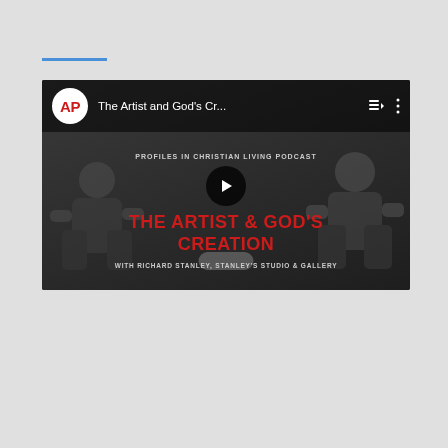[Figure (screenshot): YouTube video embed thumbnail showing a podcast episode titled 'The Artist and God's Cr...' with the AP (Associated Press or similar) logo in red on white circle, a playlist icon and menu icon in top right. Center shows text: 'PROFILES IN CHRISTIAN LIVING PODCAST / THE ARTIST & GOD'S CREATION / WITH RICHARD STANLEY, STANLEY'S STUDIO & GALLERY' with a play button overlay. Two people are seated in chairs in the darkened background.]